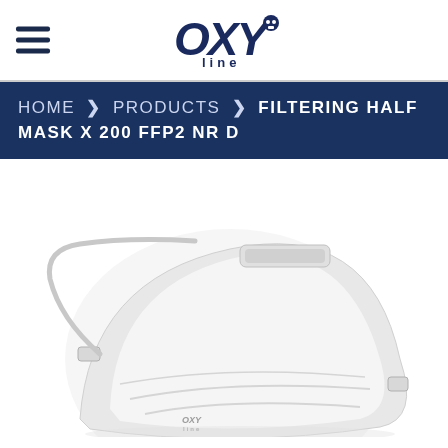OXY line [logo with hamburger menu]
HOME > PRODUCTS > FILTERING HALF MASK X 200 FFP2 NR D
[Figure (photo): White FFP2 filtering half mask (respirator) product photo on white background, showing the cup-shaped mask with nose clip and elastic straps, with a small OXY logo visible on the mask.]